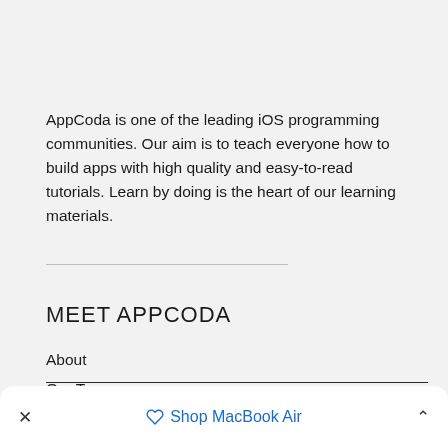AppCoda is one of the leading iOS programming communities. Our aim is to teach everyone how to build apps with high quality and easy-to-read tutorials. Learn by doing is the heart of our learning materials.
MEET APPCODA
About
Our Team
Write for Us
Advertise
Shop MacBook Air